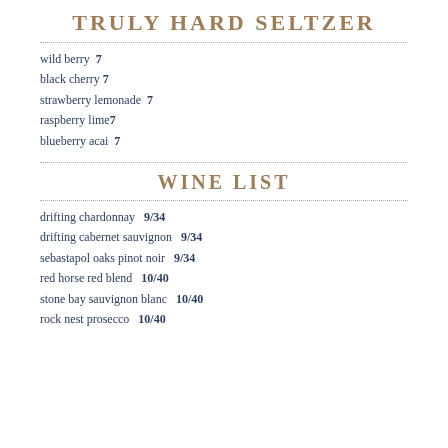TRULY HARD SELTZER
wild berry  7
black cherry 7
strawberry lemonade  7
raspberry lime7
blueberry acai  7
WINE LIST
drifting chardonnay  9/34
drifting cabernet sauvignon  9/34
sebastapol oaks pinot noir  9/34
red horse red blend  10/40
stone bay sauvignon blanc  10/40
rock nest prosecco  10/40